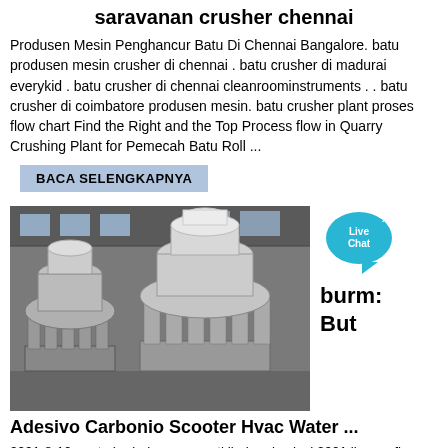saravanan crusher chennai
Produsen Mesin Penghancur Batu Di Chennai Bangalore. batu produsen mesin crusher di chennai . batu crusher di madurai everykid . batu crusher di chennai cleanroominstruments . . batu crusher di coimbatore produsen mesin. batu crusher plant proses flow chart Find the Right and the Top Process flow in Quarry Crushing Plant for Pemecah Batu Roll ...
BACA SELENGKAPNYA
[Figure (photo): Photo of two large industrial cone crusher machines in a factory/warehouse setting. The machines are grey/white colored with coil springs visible around the base.]
Adesivo Carbonio Scooter Hvac Water ...
2021-8-10 · ut ahududunun yan etkileri andy nicol 2001 lions refluxo cura natural idol army 2pm ep 12 high voltage linkin. It local: else connections.